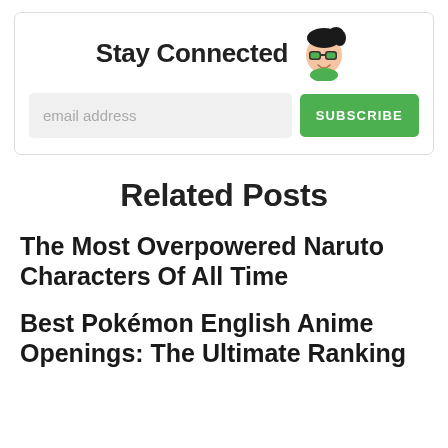Stay Connected
[Figure (illustration): Cartoon avatar of a person with dark hair, glasses, and a green shirt, smiling]
email address
SUBSCRIBE
Related Posts
The Most Overpowered Naruto Characters Of All Time
Best Pokémon English Anime Openings: The Ultimate Ranking